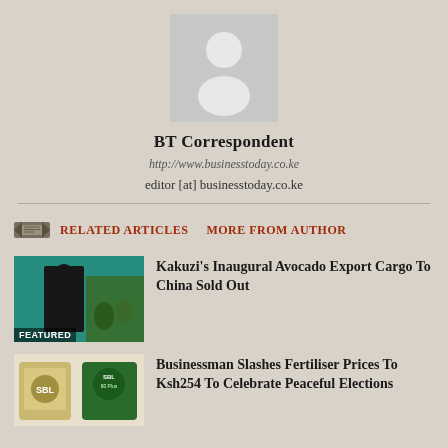[Figure (illustration): Generic user avatar placeholder: gray rectangle with white person silhouette icon]
BT Correspondent
http://www.businesstoday.co.ke
editor [at] businesstoday.co.ke
RELATED ARTICLES   MORE FROM AUTHOR
[Figure (photo): Photo of a person in black shirt standing near green plants/avocados with FEATURED badge]
Kakuzi's Inaugural Avocado Export Cargo To China Sold Out
[Figure (photo): Photo of SBL fertiliser product bags]
Businessman Slashes Fertiliser Prices To Ksh254 To Celebrate Peaceful Elections